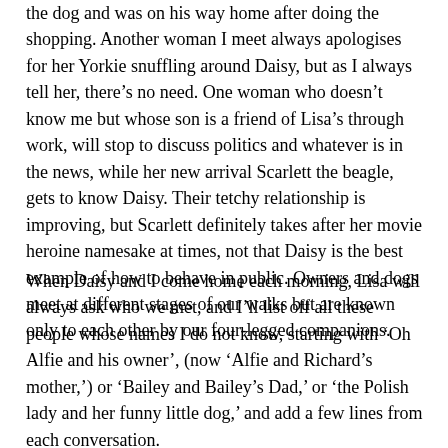the dog and was on his way home after doing the shopping. Another woman I meet always apologises for her Yorkie snuffling around Daisy, but as I always tell her, there's no need. One woman who doesn't know me but whose son is a friend of Lisa's through work, will stop to discuss politics and whatever is in the news, while her new arrival Scarlett the beagle, gets to know Daisy. Their tetchy relationship is improving, but Scarlett definitely takes after her movie heroine namesake at times, not that Daisy is the best example of how to behave in public. Owners and dogs meet at different stages of our walks but are known only to each other by our four-legged companions.
When Daisy and I come home each morning, Lisa will always ask who we met, and I'll list off all these people whose names I do not know, starting with 'Oh Alfie and his owner', (now 'Alfie and Richard's mother,') or 'Bailey and Bailey's Dad,' or 'the Polish lady and her funny little dog,' and add a few lines from each conversation.